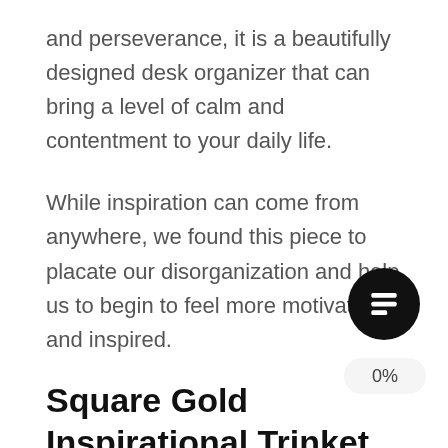and perseverance, it is a beautifully designed desk organizer that can bring a level of calm and contentment to your daily life.
While inspiration can come from anywhere, we found this piece to placate our disorganization and help us to begin to feel more motivated and inspired.
Square Gold Inspirational Trinket Tray
Honestly, we like small, minimalist inspirational desk décor.